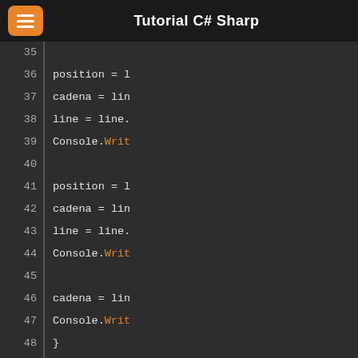Tutorial C# Sharp
[Figure (screenshot): C# code editor screenshot showing lines 35-53 with syntax highlighting. Lines show position assignments, cadena assignments, line manipulations, Console.Write calls, closing braces, catch (Exception) block, and Console.Write inside catch block.]